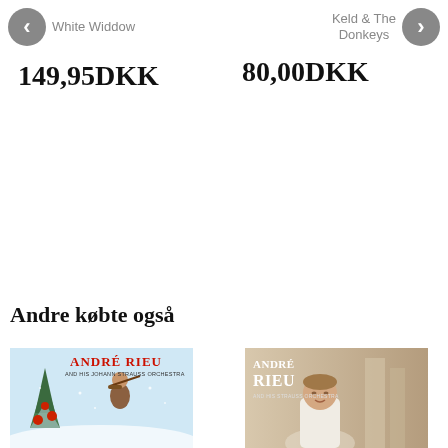White Widdow
149,95DKK
Keld & The Donkeys
80,00DKK
Andre købte også
[Figure (photo): Album cover for André Rieu And His Johann Strauss Orchestra, Christmas themed with red text on snowy background, violinist figure]
[Figure (photo): Album cover for André Rieu, portrait photo of André Rieu in white suit]